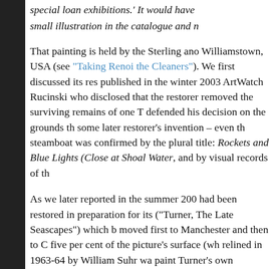special loan exhibitions.' It would have small illustration in the catalogue and n
That painting is held by the Sterling and Williamstown, USA (see "Taking Renoi the Cleaners"). We first discussed its res published in the winter 2003 ArtWatch Rucinski who disclosed that the restorer removed the surviving remains of one T defended his decision on the grounds th some later restorer's invention – even th steamboat was confirmed by the plural title: Rockets and Blue Lights (Close at Shoal Water, and by visual records of th
As we later reported in the summer 200 had been restored in preparation for its ("Turner, The Late Seascapes") which b moved first to Manchester and then to C five per cent of the picture's surface (wh relined in 1963-64 by William Suhr wa paint Turner's own brushwork would be